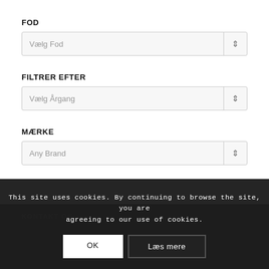FOD
Vælg Fod
FILTRER EFTER
Vælg Årgang
MÆRKE
Any Brand
KONTAKT OS
This site uses cookies. By continuing to browse the site, you are agreeing to our use of cookies.
OK
Læs mere